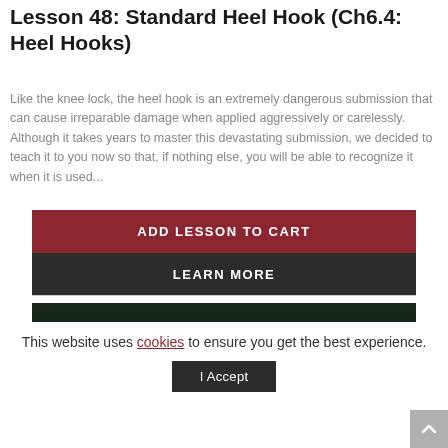Lesson 48: Standard Heel Hook (Ch6.4: Heel Hooks)
Like the knee lock, the heel hook is an extremely dangerous submission that can cause irreparable damage when applied aggressively or carelessly. Although it takes years to master this devastating submission, we decided to teach it to you now so that, if nothing else, you will be able to recognize it when it is used...
ADD LESSON TO CART
LEARN MORE
[Figure (photo): Dark video thumbnail showing a martial arts/jiu-jitsu demonstration scene with dark green/black background]
This website uses cookies to ensure you get the best experience.
I Accept